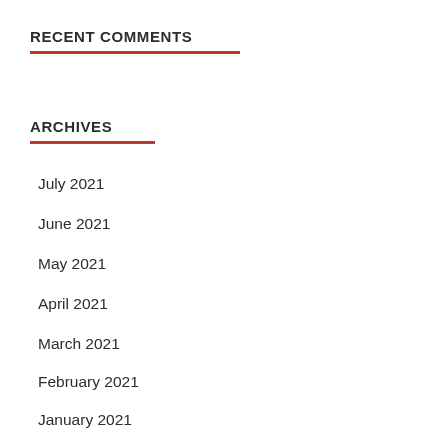RECENT COMMENTS
ARCHIVES
July 2021
June 2021
May 2021
April 2021
March 2021
February 2021
January 2021
December 2020
November 2020